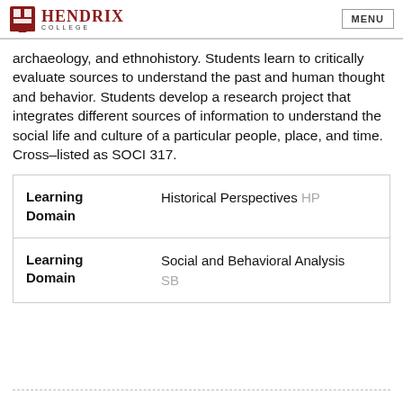HENDRIX COLLEGE | MENU
archaeology, and ethnohistory. Students learn to critically evaluate sources to understand the past and human thought and behavior. Students develop a research project that integrates different sources of information to understand the social life and culture of a particular people, place, and time. Cross-listed as SOCI 317.
|  |  |
| --- | --- |
| Learning Domain | Historical Perspectives HP |
| Learning Domain | Social and Behavioral Analysis SB |